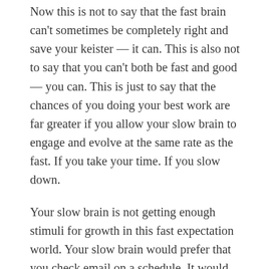Now this is not to say that the fast brain can't sometimes be completely right and save your keister — it can. This is also not to say that you can't both be fast and good — you can. This is just to say that the chances of you doing your best work are far greater if you allow your slow brain to engage and evolve at the same rate as the fast. If you take your time. If you slow down.
Your slow brain is not getting enough stimuli for growth in this fast expectation world. Your slow brain would prefer that you check email on a schedule. It would be better served if you took some time to think about the responses you wished to craft before you sent them. It believes that it is better to save-to-draft than to push-to-